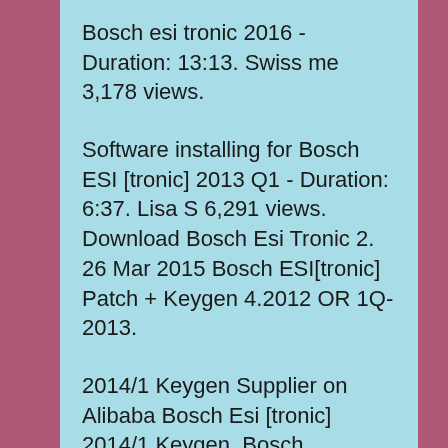Bosch esi tronic 2016 - Duration: 13:13. Swiss me 3,178 views.
Software installing for Bosch ESI [tronic] 2013 Q1 - Duration: 6:37. Lisa S 6,291 views. Download Bosch Esi Tronic 2. 26 Mar 2015 Bosch ESI[tronic] Patch + Keygen 4.2012 OR 1Q-2013.
2014/1 Keygen Supplier on Alibaba Bosch Esi [tronic] 2014/1 Keygen..Bosch ESI[Tronic] 2Q 2013. BOSCH ESI[tronic] 2013/3. ESI[tronic] 2Q.2015 UPDATE A1 B1. Torrentz - Fast and convenient Torrents Search Engine.